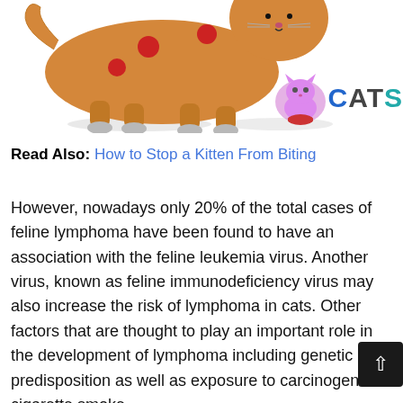[Figure (illustration): Illustration of an orange cat with red spots on its body, shown walking, with a 'CATS' logo in the upper right corner featuring a pink cartoon cat.]
Read Also: How to Stop a Kitten From Biting
However, nowadays only 20% of the total cases of feline lymphoma have been found to have an association with the feline leukemia virus. Another virus, known as feline immunodeficiency virus may also increase the risk of lymphoma in cats. Other factors that are thought to play an important role in the development of lymphoma including genetic predisposition as well as exposure to carcinogens cigarette smoke.